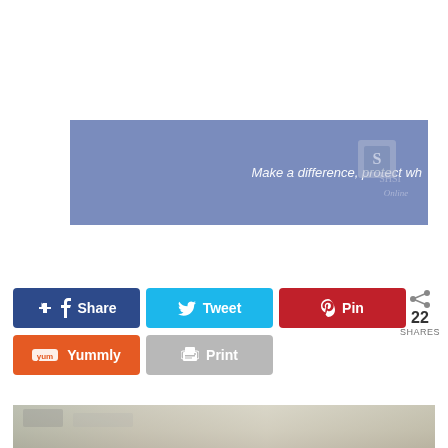[Figure (screenshot): Advertisement banner with blue-purple background, text 'Make a difference, protect wh' and partial SHSI Online logo on the right]
[Figure (infographic): Social sharing buttons row 1: Share (dark blue/Facebook), Tweet (light blue/Twitter), Pin (red/Pinterest), and share count showing 22 SHARES]
[Figure (infographic): Social sharing buttons row 2: Yummly (orange) and Print (gray)]
[Figure (photo): Partial food/scene photo at the bottom of the page, light grayish tones]